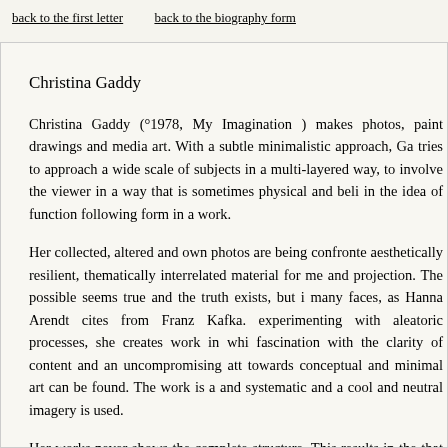back to the first letter    back to the biography form
Christina Gaddy
Christina Gaddy (°1978, My Imagination ) makes photos, paintings, drawings and media art. With a subtle minimalistic approach, Gaddy tries to approach a wide scale of subjects in a multi-layered way, to involve the viewer in a way that is sometimes physical and believes in the idea of function following form in a work.
Her collected, altered and own photos are being confronted with aesthetically resilient, thematically interrelated material for memory and projection. The possible seems true and the truth exists, but in many faces, as Hanna Arendt cites from Franz Kafka. By experimenting with aleatoric processes, she creates work in which a fascination with the clarity of content and an uncompromising attitude towards conceptual and minimal art can be found. The work is analytical and systematic and a cool and neutral imagery is used.
Her works never shows the complete structure. This results in the fact that the artist can easily imagine an own interpretation without being hindered by the historical reality. By contesting the division between the realm of memory and the realm of experience, she tries to increase the dynamic between audience and author by objectifying em...